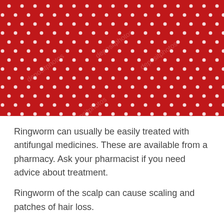[Figure (photo): Red fabric or textile with white polka dots pattern, with faint watermark text overlaid]
Ringworm can usually be easily treated with antifungal medicines. These are available from a pharmacy. Ask your pharmacist if you need advice about treatment.
Ringworm of the scalp can cause scaling and patches of hair loss.
Scabies